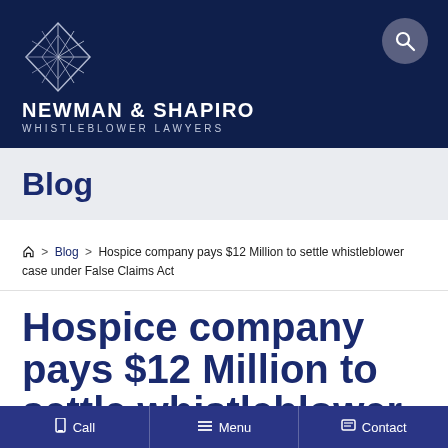NEWMAN & SHAPIRO WHISTLEBLOWER LAWYERS
Blog
Home > Blog > Hospice company pays $12 Million to settle whistleblower case under False Claims Act
Hospice company pays $12 Million to settle whistleblower
Call  Menu  Contact